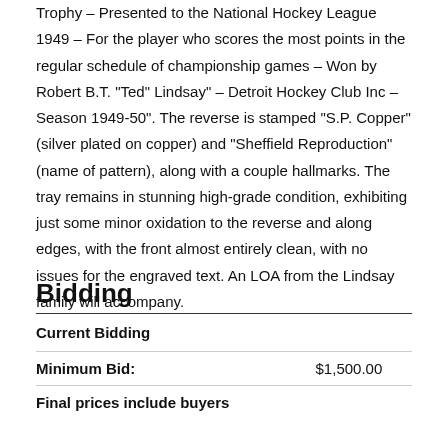Trophy – Presented to the National Hockey League 1949 – For the player who scores the most points in the regular schedule of championship games – Won by Robert B.T. "Ted" Lindsay" – Detroit Hockey Club Inc – Season 1949-50". The reverse is stamped "S.P. Copper" (silver plated on copper) and "Sheffield Reproduction" (name of pattern), along with a couple hallmarks. The tray remains in stunning high-grade condition, exhibiting just some minor oxidation to the reverse and along edges, with the front almost entirely clean, with no issues for the engraved text. An LOA from the Lindsay family will accompany.
Bidding
| Current Bidding |  |
| Minimum Bid: | $1,500.00 |
| Final prices include buyers |  |